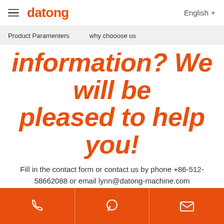datong | English
Product Paramenters    why chooose us
information? We will be pleased to help you!
Fill in the contact form or contact us by phone +86-512-58662088 or email lynn@datong-machine.com
Contact us
Prev :2000CPH filling carb...
Next :4-in-1 juice glass bottl...
[Figure (other): Footer bar with three icons: phone, WhatsApp/chat bubble, and email envelope on orange background]